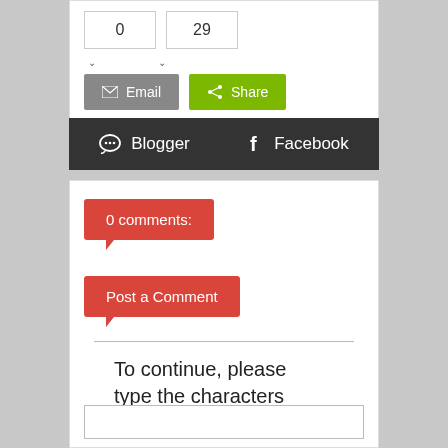[Figure (screenshot): Two counter boxes showing 0 and 29]
[Figure (screenshot): Email and Share buttons row]
[Figure (screenshot): Dark navigation bar with Blogger and Facebook icons]
0 comments:
Post a Comment
To continue, please type the characters below: